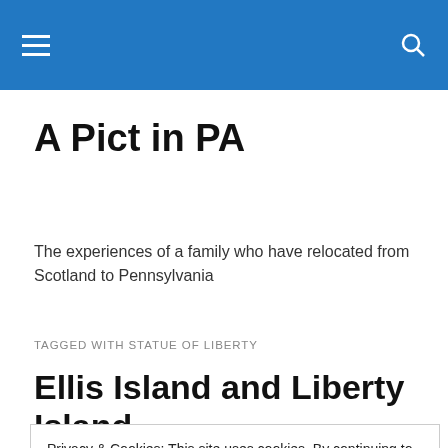A Pict in PA
The experiences of a family who have relocated from Scotland to Pennsylvania
TAGGED WITH STATUE OF LIBERTY
Ellis Island and Liberty Island
Privacy & Cookies: This site uses cookies. By continuing to use this website, you agree to their use.
To find out more, including how to control cookies, see here: Cookie Policy
Close and accept
behaviours, such as day trips. Contemplating a destination